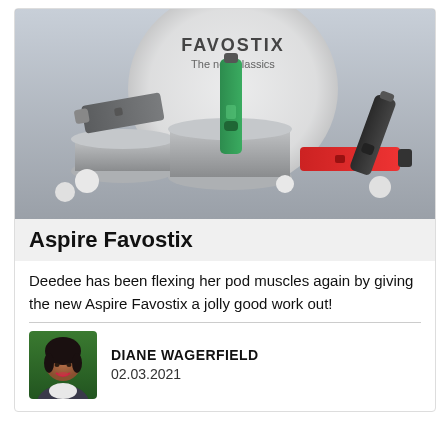[Figure (photo): Product photo of Aspire Favostix vape pods in green, gray, red, and black colors displayed on concrete pedestals with a large white circle backdrop showing 'FAVOSTIX The new classics' text]
Aspire Favostix
Deedee has been flexing her pod muscles again by giving the new Aspire Favostix a jolly good work out!
[Figure (photo): Headshot photo of Diane Wagerfield, a woman with dark hair, smiling]
DIANE WAGERFIELD
02.03.2021